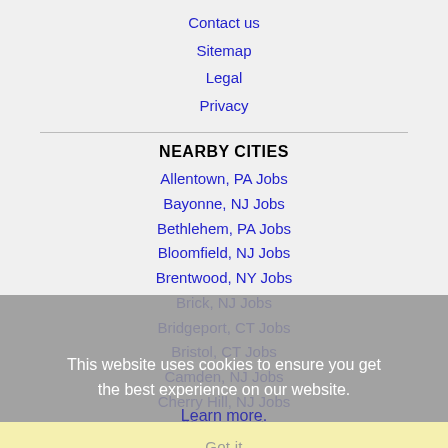Contact us
Sitemap
Legal
Privacy
NEARBY CITIES
Allentown, PA Jobs
Bayonne, NJ Jobs
Bethlehem, PA Jobs
Bloomfield, NJ Jobs
Brentwood, NY Jobs
Brick, NJ Jobs
Bridgeport, CT Jobs
Bristol, CT Jobs
Camden, NJ Jobs
Cherry Hill, NJ Jobs
Clifton, NJ Jobs
This website uses cookies to ensure you get the best experience on our website. Learn more.
Got it